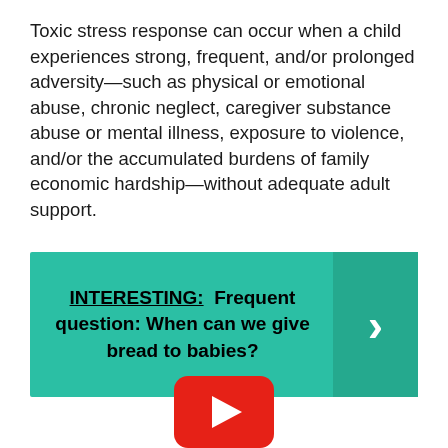Toxic stress response can occur when a child experiences strong, frequent, and/or prolonged adversity—such as physical or emotional abuse, chronic neglect, caregiver substance abuse or mental illness, exposure to violence, and/or the accumulated burdens of family economic hardship—without adequate adult support.
[Figure (infographic): Teal banner with text 'INTERESTING: Frequent question: When can we give bread to babies?' with a right-pointing arrow chevron on the right side]
[Figure (logo): YouTube play button logo in red with white triangle play icon]